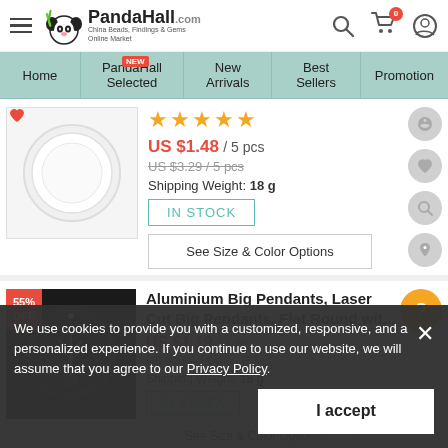PandaHall.com - China Beads, Findings & Gems Online Market
Home | PandaHall Selected | New Arrivals | Best Sellers | Promotion
[Figure (photo): White ceramic flat round dish/tray product image]
★★★★★
US $1.48 / 5 pcs
US $3.29 / 5 pcs (original price, strikethrough)
Shipping Weight: 18 g
IN STOCK
See Size & Color Options
[Figure (photo): Dark background laser cut aluminium pendant with tree design]
55% OFF
Aluminium Big Pendants, Laser Cut Big Pendants, Flat Round wit...
US $1.19 / 1 pc
US $2.64 / 1 pc (original price, strikethrough)
Shipping Weight: 18 g
IN STOCK
See Size & Color Options
We use cookies to provide you with a customized, responsive, and a personalized experience. If you continue to use our website, we will assume that you agree to our Privacy Policy.
I accept